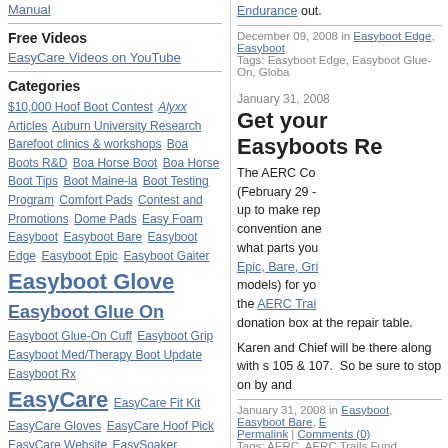Manual
Free Videos
EasyCare Videos on YouTube
Categories
$10,000 Hoof Boot Contest Alyxx Articles Auburn University Research Barefoot clinics & workshops Boa Boots R&D Boa Horse Boot Boa Horse Boot Tips Boot Maine-ia Boot Testing Program Comfort Pads Contest and Promotions Dome Pads Easy Foam Easyboot Easyboot Bare Easyboot Edge Easyboot Epic Easyboot Gaiter Easyboot Glove Easyboot Glue On Easyboot Glue-On Cuff Easyboot Grip Easyboot Med/Therapy Boot Update Easyboot Rx EasyCare EasyCare Fit Kit EasyCare Gloves EasyCare Hoof Pick EasyCare Website EasySoaker EasyUp Buckle Edge Endurance Ride Events Fill Your Truck General Barefoot General R&D Hoof Boot
Endurance out.
December 09, 2008 in Easyboot Edge, Easyboot
Tags: Easyboot Edge, Easyboot Glue-On, Globa
January 31, 2008
Get your Easyboots Re
The AERC Co (February 29 - up to make rep convention ane what parts you Epic, Bare, Gr models) for yo the AERC Trai donation box at the repair table.
Karen and Chief will be there along with s 105 & 107.  So be sure to stop on by and
January 31, 2008 in Easyboot, Easyboot Bare, E
Permalink | Comments (0)
Tags: AERC, AERC Trails Fund, Custom Easybo Grip, EasyCare
January 30, 2008